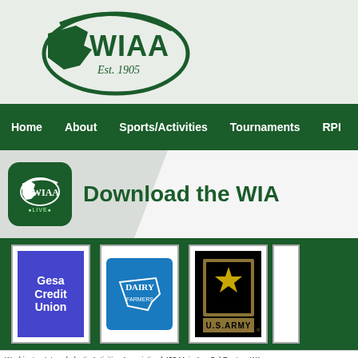[Figure (logo): WIAA logo with Washington state silhouette, green oval swoosh, 'WIAA' text and 'Est. 1905']
Home | About | Sports/Activities | Tournaments | RPI
[Figure (screenshot): Banner promoting 'Download the WIA[A app]' with WIAA Live app icon on gray diagonal background]
[Figure (logo): Gesa Credit Union sponsor logo - blue box with white text]
[Figure (logo): Dairy Farmers sponsor logo - blue box with white text and Washington state outline]
[Figure (logo): U.S. Army sponsor logo - black box with gold star]
Washington Interscholastic Activities Association  |  435 Main Ave S.  |  Renton, WA